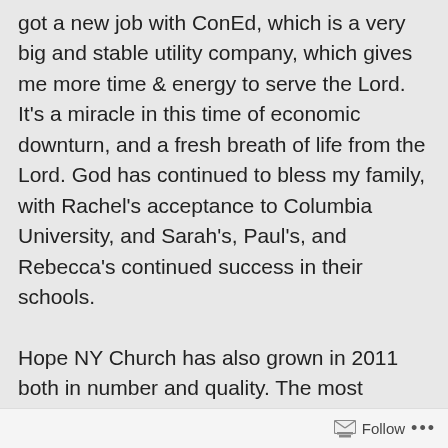got a new job with ConEd, which is a very big and stable utility company, which gives me more time & energy to serve the Lord. It's a miracle in this time of economic downturn, and a fresh breath of life from the Lord. God has continued to bless my family, with Rachel's acceptance to Columbia University, and Sarah's, Paul's, and Rebecca's continued success in their schools.

Hope NY Church has also grown in 2011 both in number and quality. The most important change is the gradual transformation of the church to a
Follow ...